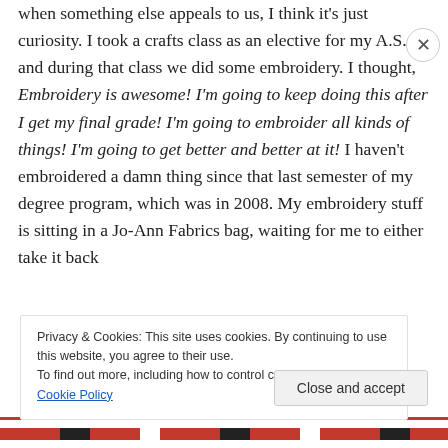when something else appeals to us, I think it's just curiosity. I took a crafts class as an elective for my A.S. and during that class we did some embroidery. I thought, Embroidery is awesome! I'm going to keep doing this after I get my final grade! I'm going to embroider all kinds of things! I'm going to get better and better at it! I haven't embroidered a damn thing since that last semester of my degree program, which was in 2008. My embroidery stuff is sitting in a Jo-Ann Fabrics bag, waiting for me to either take it back
Privacy & Cookies: This site uses cookies. By continuing to use this website, you agree to their use.
To find out more, including how to control cookies, see here: Cookie Policy
Close and accept